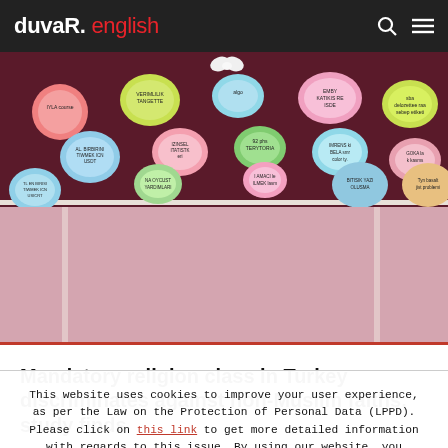duvaR. english
[Figure (photo): Classroom bulletin board decorated with colorful flower-shaped cutouts containing text, against a pink background]
Mandatory religion class in Turkey discriminates against non-Muslim faiths, study finds
This website uses cookies to improve your user experience, as per the Law on the Protection of Personal Data (LPPD). Please click on this link to get more detailed information with regards to this issue. By using our website, you accept that we use cookies.